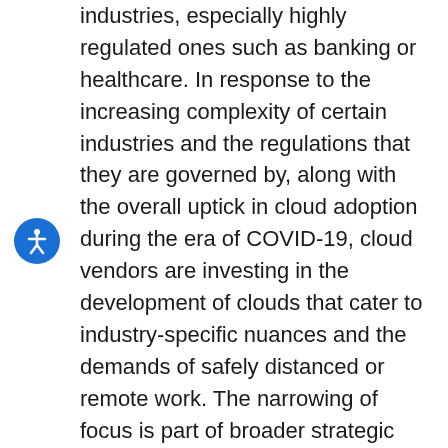industries, especially highly regulated ones such as banking or healthcare. In response to the increasing complexity of certain industries and the regulations that they are governed by, along with the overall uptick in cloud adoption during the era of COVID-19, cloud vendors are investing in the development of clouds that cater to industry-specific nuances and the demands of safely distanced or remote work. The narrowing of focus is part of broader strategic objectives that extend beyond just the immediate commercialization of opportunity and revenue impact. Initiatives by SAP and Google highlight how innovation and technological advancements in AI and machine learning (ML) factor into